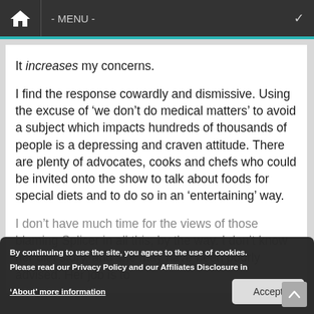- MENU -
It increases my concerns.
I find the response cowardly and dismissive. Using the excuse of ‘we don’t do medical matters’ to avoid a subject which impacts hundreds of thousands of people is a depressing and craven attitude. There are plenty of advocates, cooks and chefs who could be invited onto the show to talk about foods for special diets and to do so in an ‘entertaining’ way.
I don’t have much time for the views of those blaming Splicer in all this, by the way. I don’t know her diet story, and she may have been poorly advised. Her job is to
By continuing to use the site, you agree to the use of cookies. Please read our Privacy Policy and our Affiliates Disclosure in ‘About’ more information
Accept